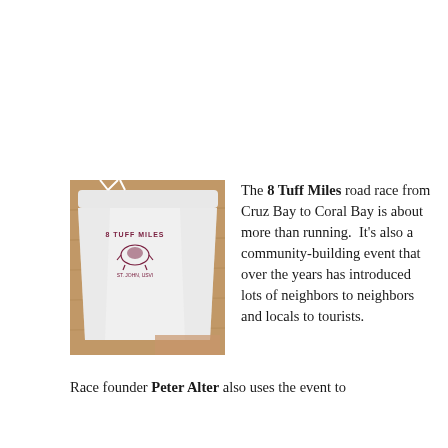[Figure (photo): White cotton shorts with '8 Tuff Miles' logo printed in dark red/maroon on the leg, laid on a wooden surface. The shorts have a drawstring waist.]
The 8 Tuff Miles road race from Cruz Bay to Coral Bay is about more than running.  It's also a community-building event that over the years has introduced lots of neighbors to neighbors and locals to tourists.
Race founder Peter Alter also uses the event to